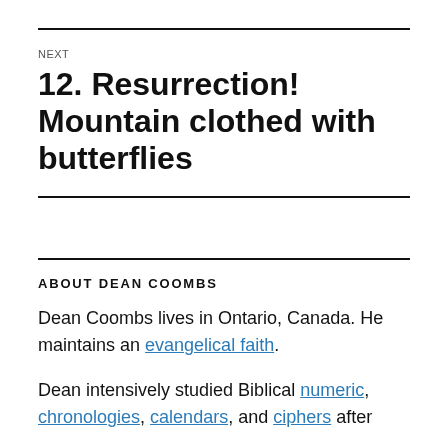NEXT
12. Resurrection! Mountain clothed with butterflies
ABOUT DEAN COOMBS
Dean Coombs lives in Ontario, Canada. He maintains an evangelical faith.
Dean intensively studied Biblical numeric, chronologies, calendars, and ciphers after